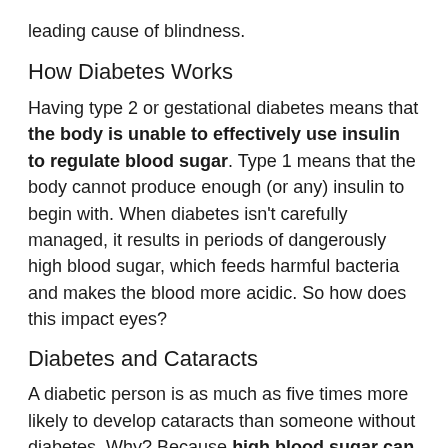leading cause of blindness.
How Diabetes Works
Having type 2 or gestational diabetes means that the body is unable to effectively use insulin to regulate blood sugar. Type 1 means that the body cannot produce enough (or any) insulin to begin with. When diabetes isn't carefully managed, it results in periods of dangerously high blood sugar, which feeds harmful bacteria and makes the blood more acidic. So how does this impact eyes?
Diabetes and Cataracts
A diabetic person is as much as five times more likely to develop cataracts than someone without diabetes. Why? Because high blood sugar can make the lens of the eye swell and cause opaque proteins to accumulate there, which turns it cloudy. Thanks to modern cataract